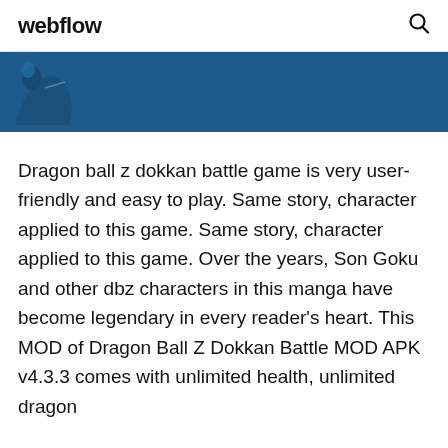webflow
[Figure (illustration): Dark blue banner with a partial silhouette figure on the left side]
Dragon ball z dokkan battle game is very user-friendly and easy to play. Same story, character applied to this game. Same story, character applied to this game. Over the years, Son Goku and other dbz characters in this manga have become legendary in every reader’s heart. This MOD of Dragon Ball Z Dokkan Battle MOD APK v4.3.3 comes with unlimited health, unlimited dragon